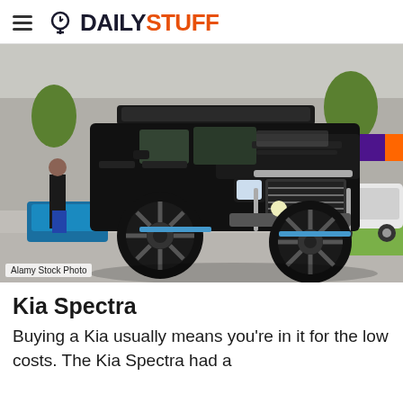DAILYSTUFF
[Figure (photo): Black modified Hummer H2 SUV with roof cargo box, large off-road tires, and chrome bull bar, parked at what appears to be a car show on a city street. A person in black is visible on the left, and a white Jeep Wrangler is visible in the background on the right.]
Alamy Stock Photo
Kia Spectra
Buying a Kia usually means you're in it for the low costs. The Kia Spectra had a